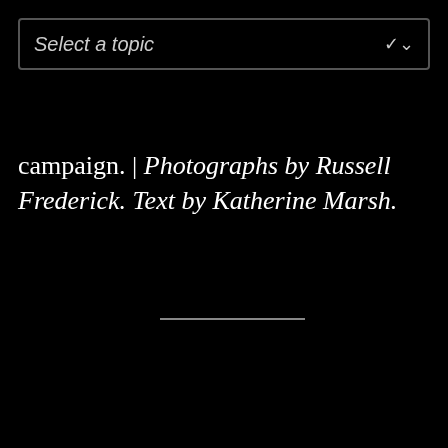[Figure (screenshot): A dropdown UI element with label 'Select a topic' and a chevron/arrow icon on the right, styled with a dark background and light border.]
campaign. | Photographs by Russell Frederick. Text by Katherine Marsh.